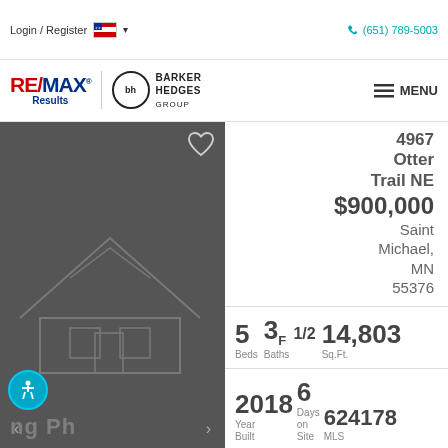Login / Register   (651) 789-5003
[Figure (logo): RE/MAX Results and Barker Hedges Group logos with MENU button]
[Figure (photo): House exterior photo placeholder with dark grey background showing house outline]
4967 Otter Trail NE
$900,000
Saint Michael, MN 55376
5 Beds   3F 4/03 1/2 Baths   14,803 Sq.Ft.
2018 Year Built   6 Days on Site   6241788 MLS